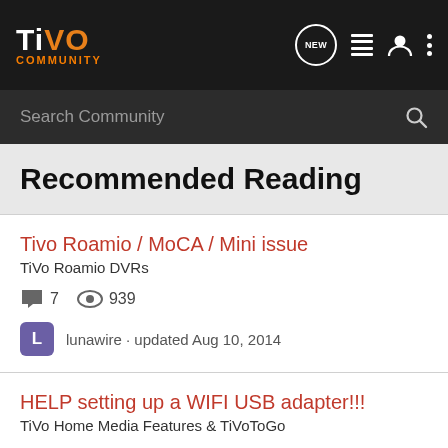TiVo Community — Navigation bar with logo, NEW, list, user, menu icons
Search Community
Recommended Reading
Tivo Roamio / MoCA / Mini issue
TiVo Roamio DVRs
7 replies · 939 views · lunawire · updated Aug 10, 2014
HELP setting up a WIFI USB adapter!!!
TiVo Home Media Features & TiVoToGo
4 replies · 4K views · jpe118 · updated Jan 20, 2006